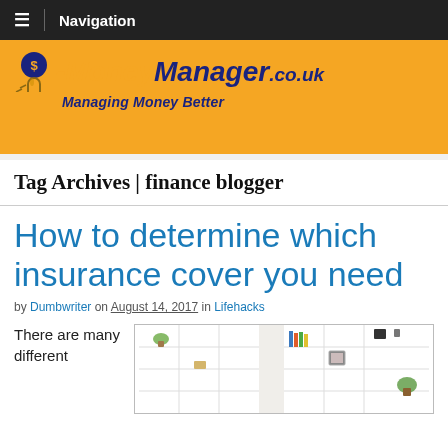≡  Navigation
[Figure (logo): i-MoneyManager.co.uk logo on orange background with tagline Managing Money Better]
Tag Archives | finance blogger
How to determine which insurance cover you need
by Dumbwriter on August 14, 2017 in Lifehacks
There are many different
[Figure (photo): Interior room photo showing white bookshelves with plants and books]